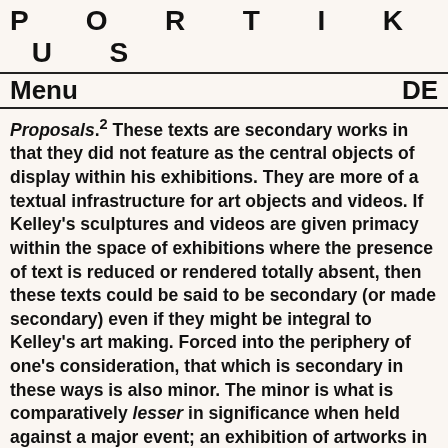P  O  R  T  I  K  U  S
Menu   DE
Proposals.² These texts are secondary works in that they did not feature as the central objects of display within his exhibitions. They are more of a textual infrastructure for art objects and videos. If Kelley's sculptures and videos are given primacy within the space of exhibitions where the presence of text is reduced or rendered totally absent, then these texts could be said to be secondary (or made secondary) even if they might be integral to Kelley's art making. Forced into the periphery of one's consideration, that which is secondary in these ways is also minor. The minor is what is comparatively lesser in significance when held against a major event; an exhibition of artworks in this case. But one might reconsider the significance of major works through the framework laid by minor materials.